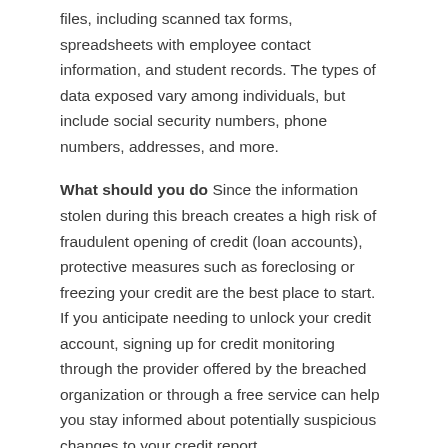files, including scanned tax forms, spreadsheets with employee contact information, and student records. The types of data exposed vary among individuals, but include social security numbers, phone numbers, addresses, and more.
What should you do Since the information stolen during this breach creates a high risk of fraudulent opening of credit (loan accounts), protective measures such as foreclosing or freezing your credit are the best place to start. If you anticipate needing to unlock your credit account, signing up for credit monitoring through the provider offered by the breached organization or through a free service can help you stay informed about potentially suspicious changes to your credit report.
More information
Republic Services (formerly Flowers Sanitation)